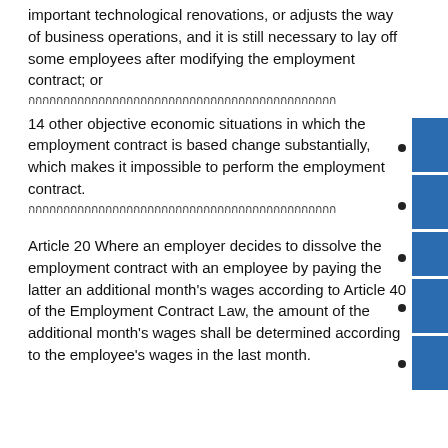important technological renovations, or adjusts the way of business operations, and it is still necessary to lay off some employees after modifying the employment contract; or
（中文原文占位符）
14 other objective economic situations in which the employment contract is based change substantially, which makes it impossible to perform the employment contract.
（中文原文占位符）
Article 20 Where an employer decides to dissolve the employment contract with an employee by paying the latter an additional month's wages according to Article 40 of the Employment Contract Law, the amount of the additional month's wages shall be determined according to the employee's wages in the last month.